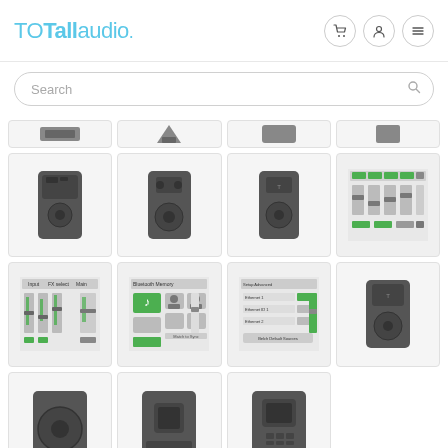TOTallaudio
Search
[Figure (screenshot): Grid of audio speaker product thumbnail images from TOTallaudio website showing various speaker models and control interface screenshots]